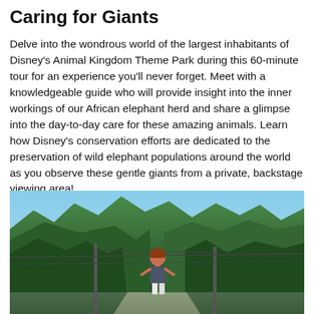Caring for Giants
Delve into the wondrous world of the largest inhabitants of Disney's Animal Kingdom Theme Park during this 60-minute tour for an experience you'll never forget. Meet with a knowledgeable guide who will provide insight into the inner workings of our African elephant herd and share a glimpse into the day-to-day care for these amazing animals. Learn how Disney's conservation efforts are dedicated to the preservation of wild elephant populations around the world as you observe these gentle giants from a private, backstage viewing area!
[Figure (photo): A woman with red hair stands on a path surrounded by lush green tropical foliage and trees at Disney's Animal Kingdom, with utility poles and wires visible and a blue sky in the background.]